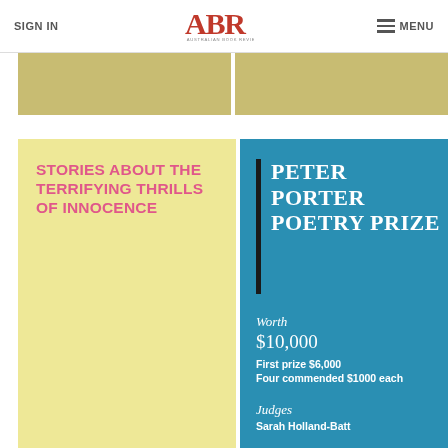SIGN IN | ABR Australian Book Review | MENU
[Figure (photo): Two golden/khaki colored book cover image strips side by side]
[Figure (illustration): Yellow book cover with pink bold text: STORIES ABOUT THE TERRIFYING THRILLS OF INNOCENCE]
[Figure (illustration): Blue card for Peter Porter Poetry Prize: Worth $10,000, First prize $6,000, Four commended $1000 each, Judges: Sarah Holland-Batt]